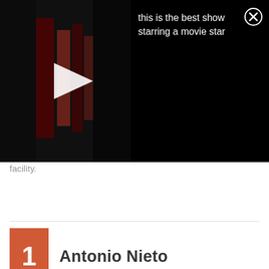[Figure (screenshot): Dark video thumbnail showing film-related imagery with a white play button triangle overlay, on a black background]
this is the best show starring a movie star
[Figure (other): Close X circle button icon]
facility.
1  Antonio Nieto
[Figure (photo): Close-up photo of an ostrich with its beak wide open, facing the camera, with a blurred outdoor background]